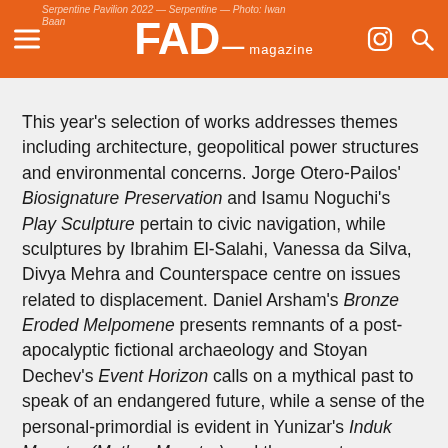FAD magazine | Serpentine Pavilion 2022 — magazine — Photo: Iwan Baan
This year's selection of works addresses themes including architecture, geopolitical power structures and environmental concerns. Jorge Otero-Pailos' Biosignature Preservation and Isamu Noguchi's Play Sculpture pertain to civic navigation, while sculptures by Ibrahim El-Salahi, Vanessa da Silva, Divya Mehra and Counterspace centre on issues related to displacement. Daniel Arsham's Bronze Eroded Melpomene presents remnants of a post-apocalyptic fictional archaeology and Stoyan Dechev's Event Horizon calls on a mythical past to speak of an endangered future, while a sense of the personal-primordial is evident in Yunizar's Induk Monster (Mother Monster) and the soapstone sculptures from Solange Pessoa's Skull series. Finally, Tatiana Wolska and Ibrahim El-Salahi touch on concerns relating to nature and the environment. The exhibition will also